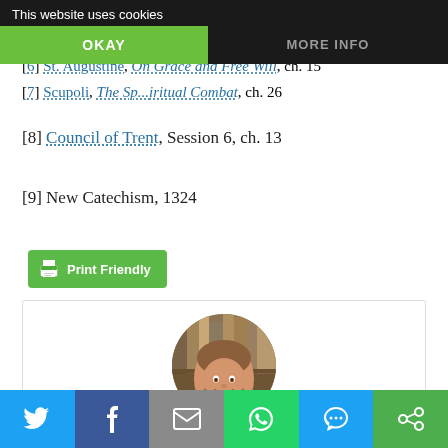This website uses cookies
OKAY | MORE INFO
[6] St. Augustine, On Grace and Free Will, ch. 15
[7] Scupoli, The Spiritual Combat, ch. 26
[8] Council of Trent, Session 6, ch. 13
[9] New Catechism, 1324
[Figure (other): Print Friendly button with printer icon]
[Figure (photo): Circular avatar photo of a smiling bearded man in front of bookshelves]
[Figure (infographic): Social share bar with Twitter (blue), Facebook (dark blue), Email (gray), WhatsApp (green), SMS (blue), Circles (green) buttons]